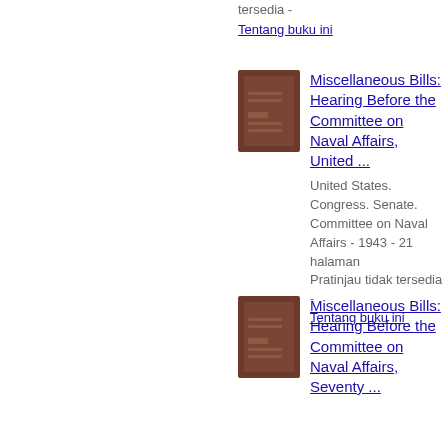tersedia - Tentang buku ini
[Figure (illustration): Brown book cover thumbnail]
Miscellaneous Bills: Hearing Before the Committee on Naval Affairs, United ...
United States. Congress. Senate. Committee on Naval Affairs - 1943 - 21 halaman
Pratinjau tidak tersedia -
Tentang buku ini
[Figure (illustration): Brown book cover thumbnail]
Miscellaneous Bills: Hearing Before the Committee on Naval Affairs, Seventy ...